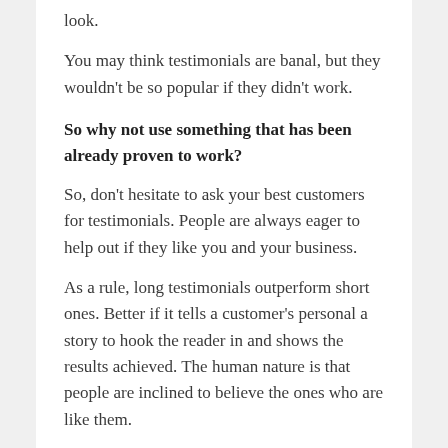look.
You may think testimonials are banal, but they wouldn't be so popular if they didn't work.
So why not use something that has been already proven to work?
So, don't hesitate to ask your best customers for testimonials. People are always eager to help out if they like you and your business.
As a rule, long testimonials outperform short ones. Better if it tells a customer's personal a story to hook the reader in and shows the results achieved. The human nature is that people are inclined to believe the ones who are like them.
Thus, if John, Sarah and ten more persons who had the same problem as me say they were able to solve the problem with something offered by the